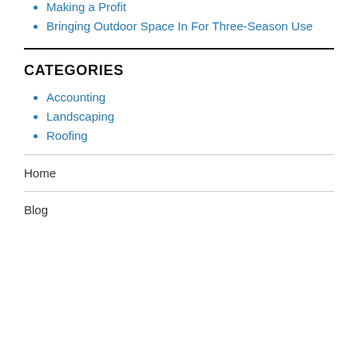Making a Profit
Bringing Outdoor Space In For Three-Season Use
CATEGORIES
Accounting
Landscaping
Roofing
Home
Blog